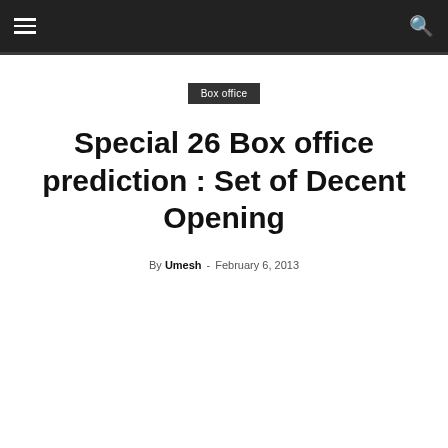☰  🔍
Box office
Special 26 Box office prediction : Set of Decent Opening
By Umesh - February 6, 2013